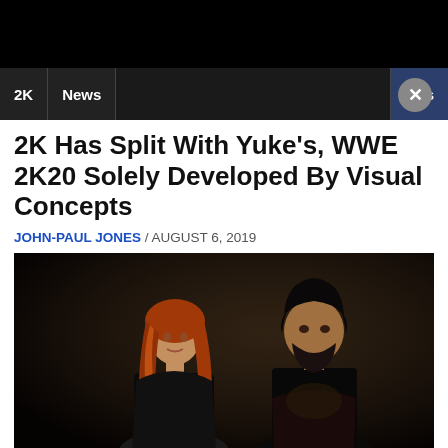2K | News | ke's
2K Has Split With Yuke's, WWE 2K20 Solely Developed By Visual Concepts
JOHN-PAUL JONES / AUGUST 6, 2019
[Figure (photo): Promotional photo of two WWE wrestlers: a woman with red hair and a man with dark hair and beard, posed back-to-back against a dark background]